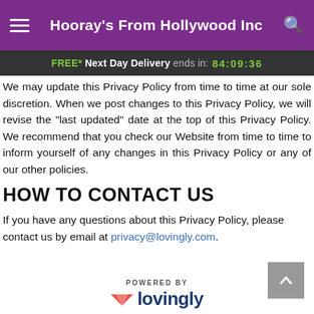Hooray's From Hollywood Inc
FREE* Next Day Delivery ends in: 84:09:36
We may update this Privacy Policy from time to time at our sole discretion. When we post changes to this Privacy Policy, we will revise the “last updated” date at the top of this Privacy Policy. We recommend that you check our Website from time to time to inform yourself of any changes in this Privacy Policy or any of our other policies.
HOW TO CONTACT US
If you have any questions about this Privacy Policy, please contact us by email at privacy@lovingly.com.
POWERED BY lovingly